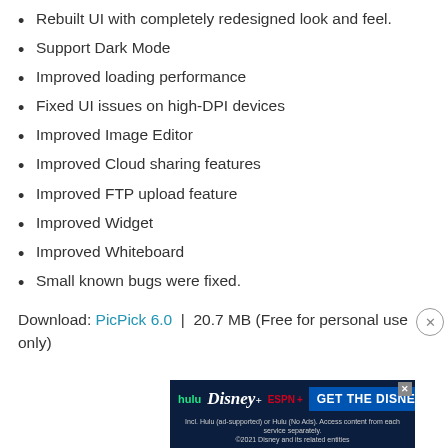Rebuilt UI with completely redesigned look and feel.
Support Dark Mode
Improved loading performance
Fixed UI issues on high-DPI devices
Improved Image Editor
Improved Cloud sharing features
Improved FTP upload feature
Improved Widget
Improved Whiteboard
Small known bugs were fixed.
Download: PicPick 6.0 | 20.7 MB (Free for personal use only)
[Figure (other): Advertisement banner for Hulu, Disney+, and ESPN+ Disney Bundle]